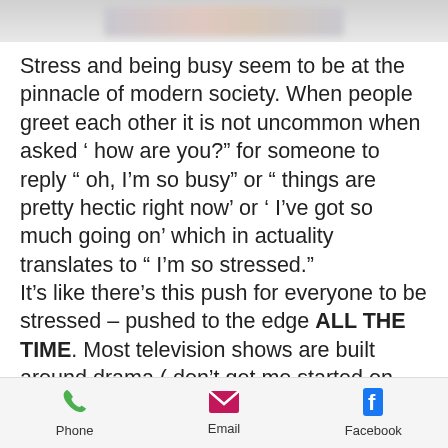[Figure (photo): Blurred/pixelated image at top of page, appears to be a person or face, mostly obscured]
Stress and being busy seem to be at the pinnacle of modern society. When people greet each other it is not uncommon when asked ‘ how are you?” for someone to reply “ oh, I’m so busy” or “ things are pretty hectic right now’ or ‘ I’ve got so much going on’ which in actuality translates to “ I’m so stressed.” It’s like there’s this push for everyone to be stressed – pushed to the edge ALL THE TIME. Most television shows are built around drama ( don’t get me started on reality tv) just to keep you tapped into the hormones of
Phone   Email   Facebook